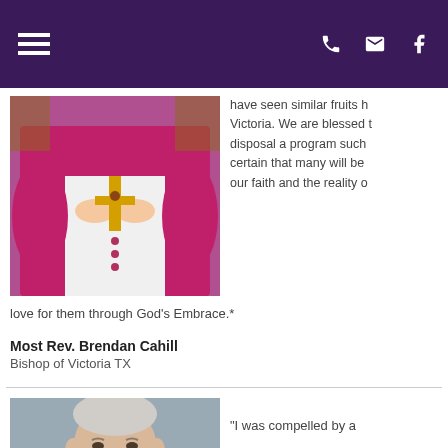Navigation header with hamburger menu and phone, email, facebook icons
[Figure (photo): Bishop in magenta/pink vestments holding a cross, photographed from chest down]
have seen similar fruits h… Victoria. We are blessed t… disposal a program such… certain that many will be… our faith and the reality o…
love for them through God's Embrace.*
Most Rev. Brendan Cahill
Bishop of Victoria TX
[Figure (photo): Older man with white/gray hair in a suit, photographed from shoulders up against gray background]
"I was compelled by a…